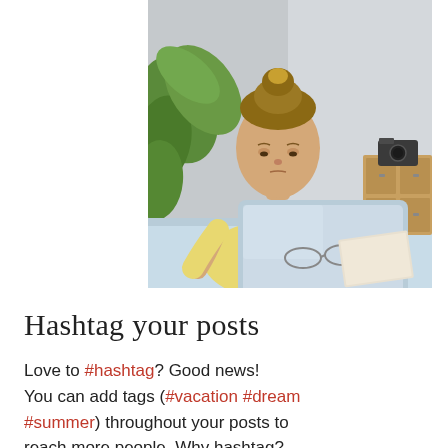[Figure (photo): A young woman with hair in a bun, wearing a yellow top, looking down at a tablet computer on a light blue desk. There is a green plant in the background on the left and a camera and wooden dresser on the right.]
Hashtag your posts
Love to #hashtag? Good news! You can add tags (#vacation #dream #summer) throughout your posts to reach more people. Why hashtag?